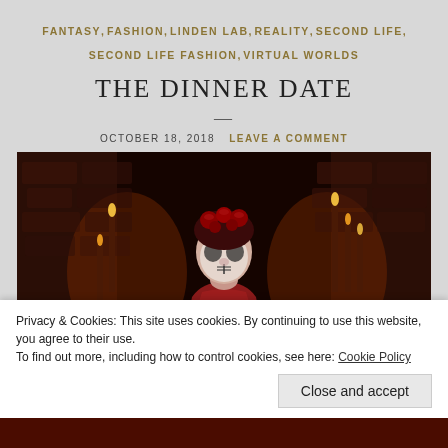FANTASY, FASHION, LINDEN LAB, REALITY, SECOND LIFE, SECOND LIFE FASHION, VIRTUAL WORLDS
THE DINNER DATE
OCTOBER 18, 2018   LEAVE A COMMENT
[Figure (photo): A woman in a red strapless dress with a Dia de los Muertos sugar skull face painting and a red rose floral headpiece, standing in a dark candlelit stone room setting in Second Life virtual world.]
Privacy & Cookies: This site uses cookies. By continuing to use this website, you agree to their use.
To find out more, including how to control cookies, see here: Cookie Policy
Close and accept